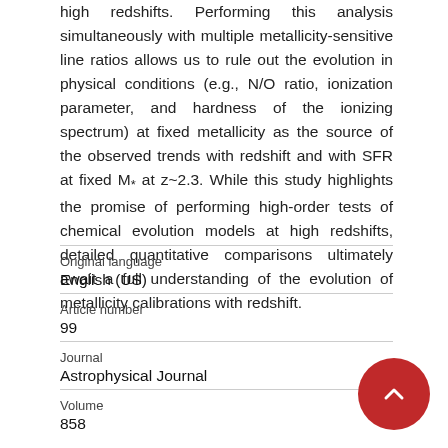high redshifts. Performing this analysis simultaneously with multiple metallicity-sensitive line ratios allows us to rule out the evolution in physical conditions (e.g., N/O ratio, ionization parameter, and hardness of the ionizing spectrum) at fixed metallicity as the source of the observed trends with redshift and with SFR at fixed M* at z~2.3. While this study highlights the promise of performing high-order tests of chemical evolution models at high redshifts, detailed quantitative comparisons ultimately await a full understanding of the evolution of metallicity calibrations with redshift.
| Field | Value |
| --- | --- |
| Original language | English (US) |
| Article number | 99 |
| Journal | Astrophysical Journal |
| Volume | 858 |